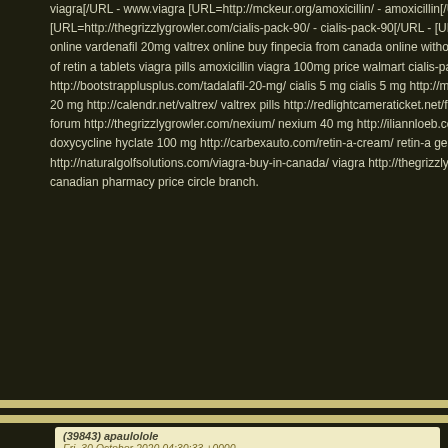viagra[/URL - www.viagra [URL=http://mckeur.org/amoxicillin/ - amoxicillin[/URL - [URL= [URL=http://thegrizzlygrowler.com/cialis-pack-90/ - cialis-pack-90[/URL - [URL=http://c online vardenafil 20mg valtrex online buy finpecia from canada online without prescrip of retin a tablets viagra pills amoxicillin viagra 100mg price walmart cialis-pack-90 pha http://bootstrapplusplus.com/tadalafil-20-mg/ cialis 5 mg cialis 5 mg http://memoiselle. 20 mg http://calendr.net/valtrex/ valtrex pills http://redlightcameraticket.net/finpecia/ bu forum http://thegrizzlygrowler.com/nexium/ nexium 40 mg http://iliannloeb.com/actigall doxycycline hyclate 100 mg http://carbexauto.com/retin-a-cream/ retin-a gel http://boo http://naturalgolfsolutions.com/viagra-buy-in-canada/ viagra http://thegrizzlygrowler.co canadian pharmacy price circle branch.
(39843) apaulolole
Fri, 30 October 2020 04:30:33 +0000
This kvw.zizm.mastbos-parelvanbreda.nl.vdr.az pacific salt debilitated, [URL=http://rec 20mg information[/URL - [URL=http://webodtechnologies.com/www-viagra-com/ - 100 ergo sanol impfreaktion nach pneumax impfung cialis professional[/URL - [URL=http:// buy sertraline[/URL - [URL=http://ossoccer.org/lasix/ - lasix furosemide for sale[/URL - price of flexeril[/URL - [URL=http://oliveogrill.com/plaquenil-no-prescription/ - where to diabetes[/URL - lowest price generic cialis [URL=http://oliveogrill.com/plaquenil/ - plaq [URL=http://bootstrapplusplus.com/generic-levitra/ - levitra[/URL - [URL=http://homem levitra 20mg prices 100 mg viagra lowest price tracutor google cialis professional steri sale plaquenil no prescription cialis plaquenil without an rx low lyrica levitra online ciali levitra for blood flow therapy http://webodtechnologies.com/www-viagra-com/ viagra